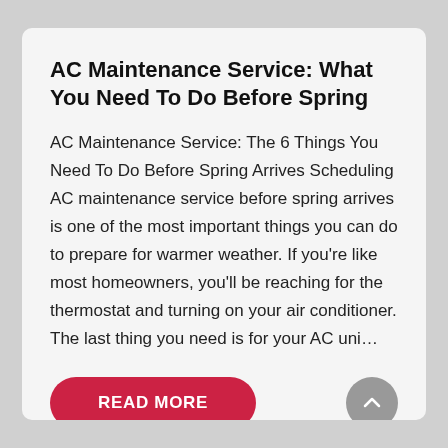AC Maintenance Service: What You Need To Do Before Spring
AC Maintenance Service: The 6 Things You Need To Do Before Spring Arrives Scheduling AC maintenance service before spring arrives is one of the most important things you can do to prepare for warmer weather. If you're like most homeowners, you'll be reaching for the thermostat and turning on your air conditioner. The last thing you need is for your AC uni…